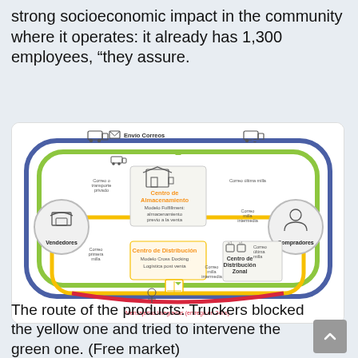strong socioeconomic impact in the community where it operates: it already has 1,300 employees, “they assure.
[Figure (infographic): Logistics flow diagram showing product routes between Vendedores (sellers) and Compradores (buyers) via Centro de Almacenamiento (Fulfillment model) and Centro de Distribucion (Cross Docking model), with Envio Correos at top, and Mensajerias integradas (entrega en 24hs) at bottom. Three colored loops: blue (outer), green (middle), yellow/red (inner).]
The route of the products: Truckers blocked the yellow one and tried to intervene the green one. (Free market)